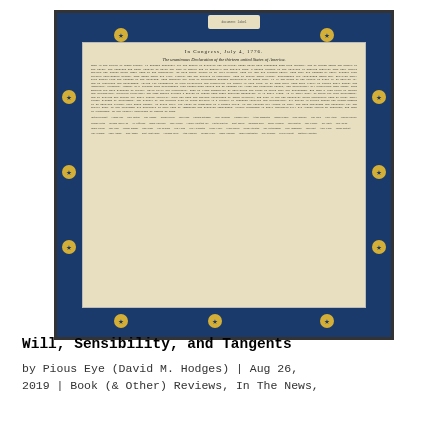[Figure (photo): A framed replica of the United States Declaration of Independence displayed in a blue frame with gold star decorations around the border. The document shows 'In Congress, July 4, 1776' at the top with the full text and signatures below.]
Will, Sensibility, and Tangents
by Pious Eye (David M. Hodges) | Aug 26, 2019 | Book (& Other) Reviews, In The News,